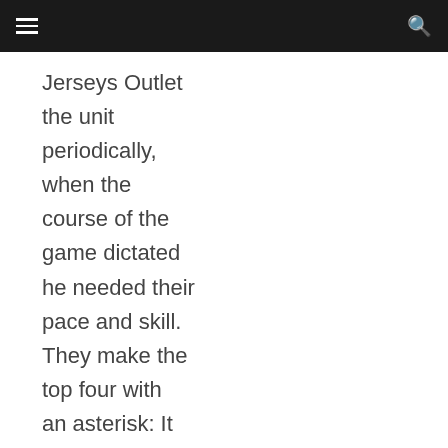Jerseys Outlet the unit periodically, when the course of the game dictated he needed their pace and skill. They make the top four with an asterisk: It has to be the New York Islanders games